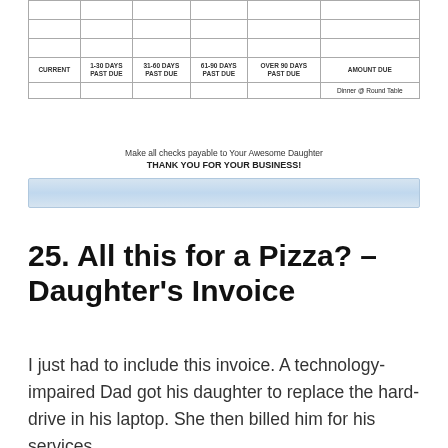| CURRENT | 1-30 DAYS PAST DUE | 31-60 DAYS PAST DUE | 61-90 DAYS PAST DUE | OVER 90 DAYS PAST DUE | AMOUNT DUE |
| --- | --- | --- | --- | --- | --- |
|  |  |  |  |  |  |
|  |  |  |  |  |  |
|  |  |  |  |  |  |
|  |  |  |  |  | Dinner @ Round Table |
Make all checks payable to Your Awesome Daughter
THANK YOU FOR YOUR BUSINESS!
[Figure (other): Blue gradient decorative bar at bottom of invoice section]
25. All this for a Pizza? – Daughter's Invoice
I just had to include this invoice. A technology-impaired Dad got his daughter to replace the hard-drive in his laptop. She then billed him for his services